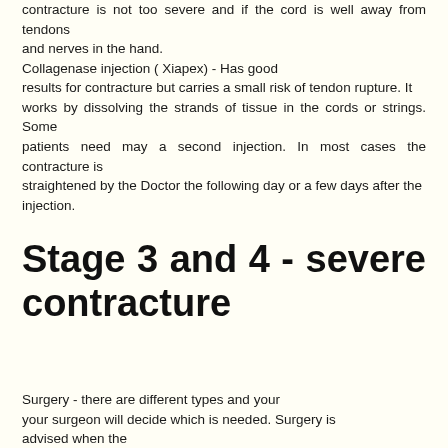contracture is not too severe and if the cord is well away from tendons and nerves in the hand. Collagenase injection ( Xiapex) - Has good results for contracture but carries a small risk of tendon rupture. It works by dissolving the strands of tissue in the cords or strings. Some patients need may a second injection. In most cases the contracture is straightened by the Doctor the following day or a few days after the injection.
Stage 3 and 4 - severe contracture
Surgery - there are different types and your your surgeon will decide which is needed. Surgery is advised when the